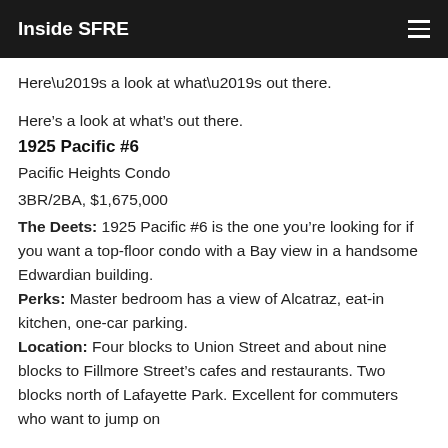Inside SFRE
Here’s a look at what’s out there.
1925 Pacific #6
Pacific Heights Condo
3BR/2BA, $1,675,000
The Deets: 1925 Pacific #6 is the one you’re looking for if you want a top-floor condo with a Bay view in a handsome Edwardian building.
Perks: Master bedroom has a view of Alcatraz, eat-in kitchen, one-car parking.
Location: Four blocks to Union Street and about nine blocks to Fillmore Street’s cafes and restaurants. Two blocks north of Lafayette Park. Excellent for commuters who want to jump on